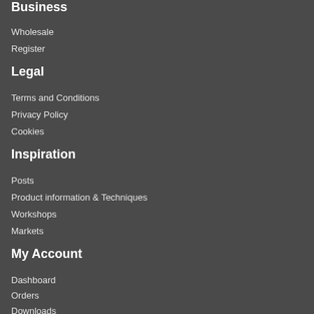Business
Wholesale
Register
Legal
Terms and Conditions
Privacy Policy
Cookies
Inspiration
Posts
Product information & Techniques
Workshops
Markets
My Account
Dashboard
Orders
Downloads
Adresses
Account details
Customer Service